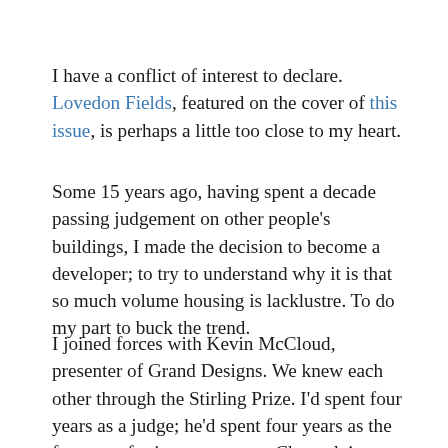I have a conflict of interest to declare. Lovedon Fields, featured on the cover of this issue, is perhaps a little too close to my heart.
Some 15 years ago, having spent a decade passing judgement on other people's buildings, I made the decision to become a developer; to try to understand why it is that so much volume housing is lacklustre. To do my part to buck the trend.
I joined forces with Kevin McCloud, presenter of Grand Designs. We knew each other through the Stirling Prize. I'd spent four years as a judge; he'd spent four years as the frontman for its coverage on Channel 4.